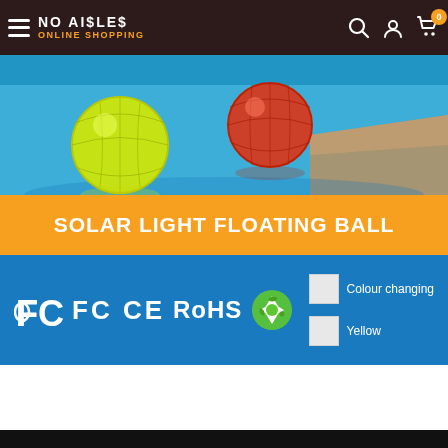NO AISLES ONLINE SHOPPING
[Figure (photo): Product image of solar light floating balls in a pool. Two illuminated balls (yellow and red/orange) floating in bright blue pool water near stone edge. Orange banner reads 'SOLAR LIGHT FLOATING BALL'. Blue section shows FCC, CE, RoHS certification logos, a green recycle icon, and colour options: Colour changing and Yellow.]
[Figure (photo): Partial view of dark product image at bottom of page, mostly black.]